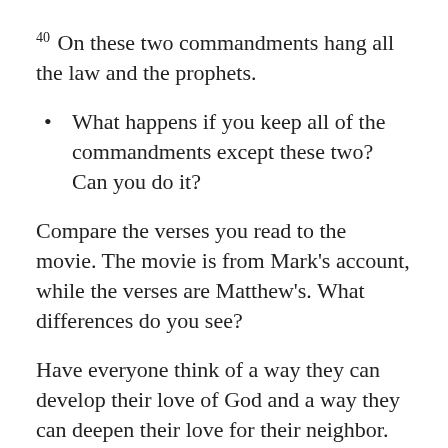40 On these two commandments hang all the law and the prophets.
What happens if you keep all of the commandments except these two? Can you do it?
Compare the verses you read to the movie. The movie is from Mark's account, while the verses are Matthew's. What differences do you see?
Have everyone think of a way they can develop their love of God and a way they can deepen their love for their neighbor.